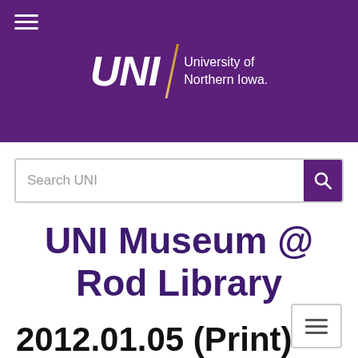[Figure (logo): University of Northern Iowa (UNI) logo on purple background with hamburger menu icon]
Search UNI
UNI Museum @ Rod Library
2012.01.05 (Print)